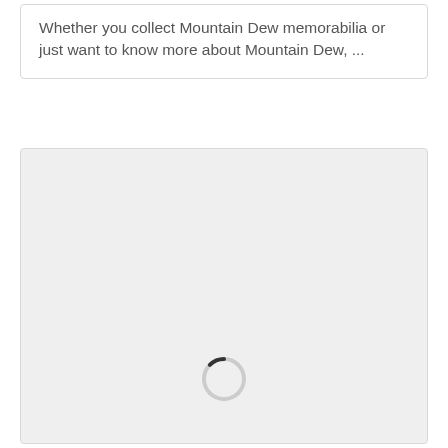Whether you collect Mountain Dew memorabilia or just want to know more about Mountain Dew, ...
[Figure (other): A large light gray placeholder content area with a loading spinner icon (dashed circle) centered near the bottom, indicating content is still loading.]